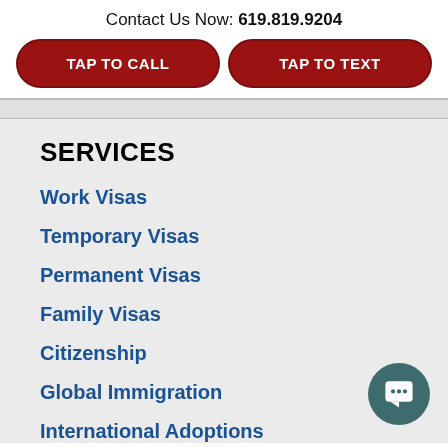Contact Us Now: 619.819.9204
TAP TO CALL
TAP TO TEXT
SERVICES
Work Visas
Temporary Visas
Permanent Visas
Family Visas
Citizenship
Global Immigration
International Adoptions